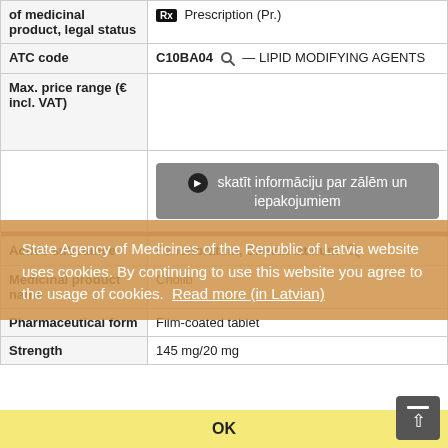| Field | Value |
| --- | --- |
| of medicinal product, legal status | Rx Prescription (Pr.) |
| ATC code | C10BA04 — LIPID MODIFYING AGENTS |
| Max. price range (€ incl. VAT) |  |
|  | skatīt informāciju par zālēm un iepakojumiem |
| Active substance | Fenofibratum, Simvastatinum |
| Medicinal product name | Cholib |
| Pharmaceutical form | Film-coated tablet |
| Strength | 145 mg/20 mg |
State Agency of Medicines of the Republic of Latvia website uses cookies. By continuing to use this website you agree to the usage of cookies. Read more (in Latvian)
OK